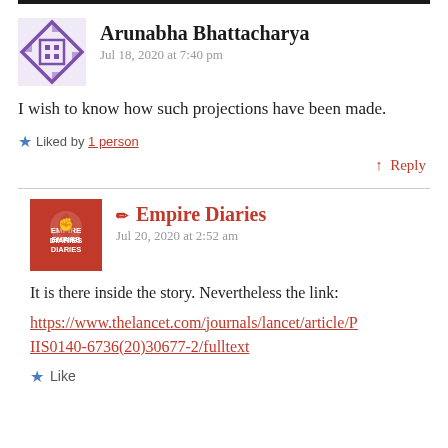Arunabha Bhattacharya
Jul 18, 2020 at 7:40 pm
I wish to know how such projections have been made.
Liked by 1 person
Reply
Empire Diaries
Jul 20, 2020 at 2:52 am
It is there inside the story. Nevertheless the link:
https://www.thelancet.com/journals/lancet/article/PIIS0140-6736(20)30677-2/fulltext
Like